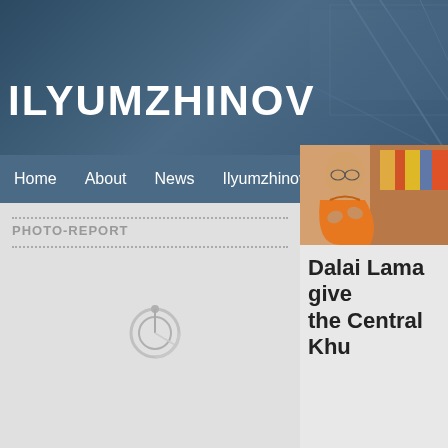ILYUMZHINOV
Home  About  News  Ilyumzhinov's Column  Politics  Interview
PHOTO-REPORT
NEWS
Dalai Lama give the Central Khu
[Figure (photo): Photo of the Dalai Lama in orange robes, gesturing with hands, with colorful Buddhist decorations in background]